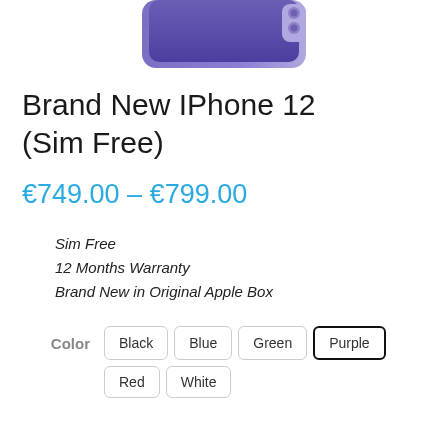[Figure (photo): Bottom portion of a purple iPhone 12 shown from the front, cropped at the top of the page]
Brand New IPhone 12 (Sim Free)
€749.00 – €799.00
Sim Free
12 Months Warranty
Brand New in Original Apple Box
Color: Black, Blue, Green, Purple (selected), Red, White